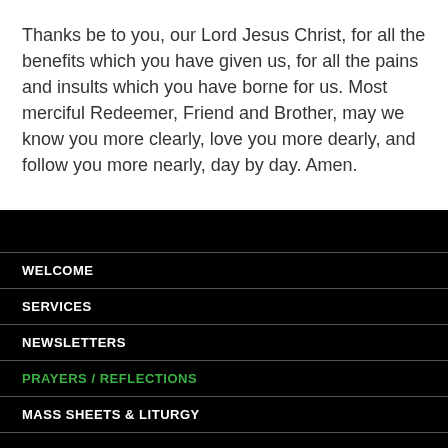Thanks be to you, our Lord Jesus Christ, for all the benefits which you have given us, for all the pains and insults which you have borne for us. Most merciful Redeemer, Friend and Brother, may we know you more clearly, love you more dearly, and follow you more nearly, day by day. Amen.
WELCOME
SERVICES
NEWSLETTERS
PRAYERS / REFLECTIONS
MASS SHEETS & LITURGY